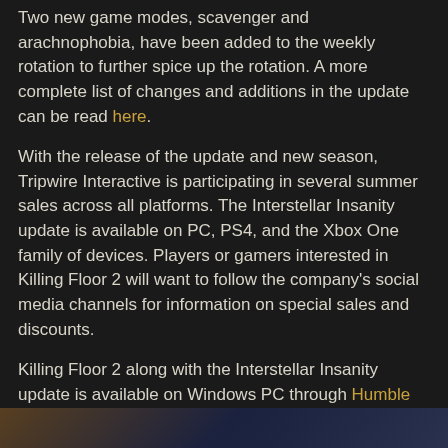Two new game modes, scavenger and arachnophobia, have been added to the weekly rotation to further spice up the rotation. A more complete list of changes and additions in the update can be read here.
With the release of the update and new season, Tripwire Interactive is participating in several summer sales across all platforms. The Interstellar Insanity update is available on PC, PS4, and the Xbox One family of devices. Players or gamers interested in Killing Floor 2 will want to follow the company's social media channels for information on special sales and discounts.
Killing Floor 2 along with the Interstellar Insanity update is available on Windows PC through Humble Bundle, Epic Games Store, and Steam for $29.99 USD. The game is also available on console for PS4 and Xbox One. For more information about Killing Floor 2 visit the game's website at killingfloor2.com.
[Figure (photo): Partial view of a game screenshot showing dark blue and brown tones at the bottom of the page]